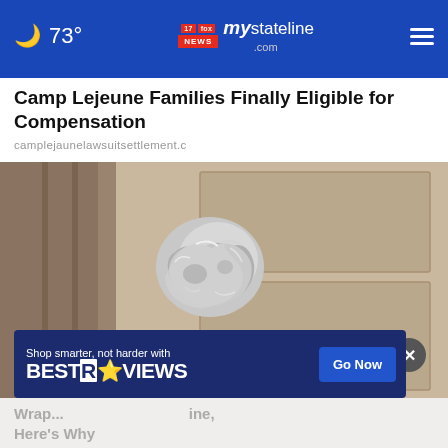73° mystateline NEWS .com
Camp Lejeune Families Finally Eligible for Compensation
camplejaunelawsuitsettlement.c
[Figure (photo): A door knob wrapped in aluminum foil, close-up photo on a light brown door]
Shop smarter, not harder with BESTREVIEWS Go Now
Wra... ine, Here's Why